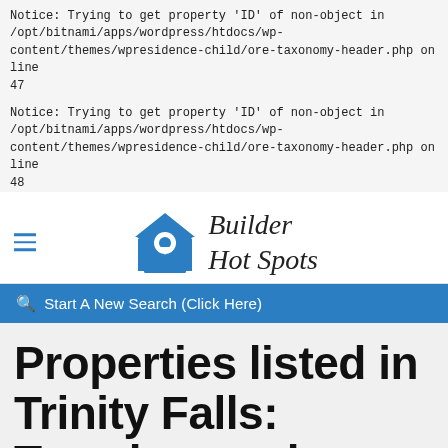Notice: Trying to get property 'ID' of non-object in /opt/bitnami/apps/wordpress/htdocs/wp-content/themes/wpresidence-child/ore-taxonomy-header.php on line 47
Notice: Trying to get property 'ID' of non-object in /opt/bitnami/apps/wordpress/htdocs/wp-content/themes/wpresidence-child/ore-taxonomy-header.php on line 48
[Figure (logo): Builder Hot Spots logo with blue house/location pin icon and cursive text]
🔍 Start A New Search (Click Here)
Properties listed in Trinity Falls: Townhomes by Highland Homes
Home Status